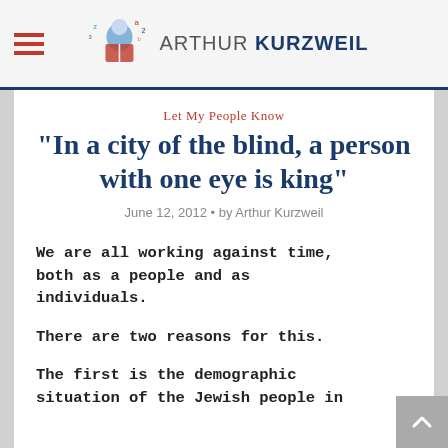Arthur Kurzweil
Let My People Know
"In a city of the blind, a person with one eye is king"
June 12, 2012 • by Arthur Kurzweil
We are all working against time, both as a people and as individuals.
There are two reasons for this.
The first is the demographic situation of the Jewish people in